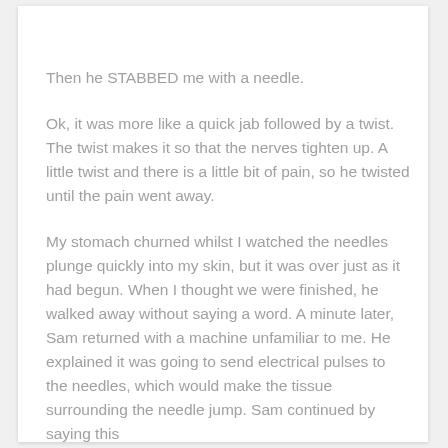Then he STABBED me with a needle.
Ok, it was more like a quick jab followed by a twist. The twist makes it so that the nerves tighten up. A little twist and there is a little bit of pain, so he twisted until the pain went away.
My stomach churned whilst I watched the needles plunge quickly into my skin, but it was over just as it had begun. When I thought we were finished, he walked away without saying a word. A minute later, Sam returned with a machine unfamiliar to me. He explained it was going to send electrical pulses to the needles, which would make the tissue surrounding the needle jump. Sam continued by saying this